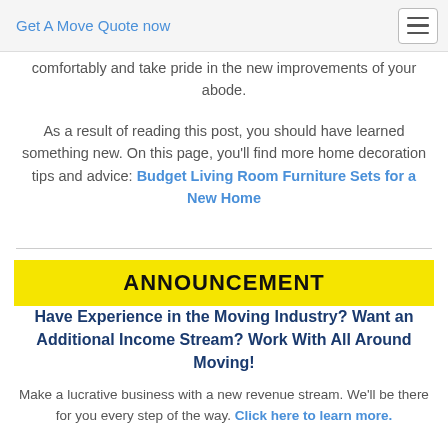Get A Move Quote now
comfortably and take pride in the new improvements of your abode.
As a result of reading this post, you should have learned something new. On this page, you'll find more home decoration tips and advice: Budget Living Room Furniture Sets for a New Home
ANNOUNCEMENT
Have Experience in the Moving Industry? Want an Additional Income Stream? Work With All Around Moving!
Make a lucrative business with a new revenue stream. We'll be there for you every step of the way. Click here to learn more.